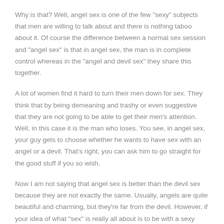Why is that? Well, angel sex is one of the few "sexy" subjects that men are willing to talk about and there is nothing taboo about it. Of course the difference between a normal sex session and "angel sex" is that in angel sex, the man is in complete control whereas in the "angel and devil sex" they share this together.
A lot of women find it hard to turn their men down for sex. They think that by being demeaning and trashy or even suggestive that they are not going to be able to get their men's attention. Well, in this case it is the man who loses. You see, in angel sex, your guy gets to choose whether he wants to have sex with an angel or a devil. That's right, you can ask him to go straight for the good stuff if you so wish.
Now I am not saying that angel sex is better than the devil sex because they are not exactly the same. Usually, angels are quite beautiful and charming, but they're far from the devil. However, if your idea of what "sex" is really all about is to be with a sexy woman, then angel sex is for you. Otherwise, try to have some fun with your man by having some devil sex and seeing how it goes.